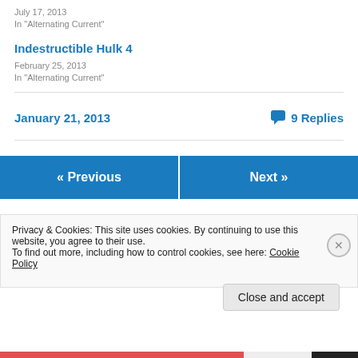July 17, 2013
In "Alternating Current"
Indestructible Hulk 4
February 25, 2013
In "Alternating Current"
January 21, 2013
9 Replies
« Previous
Next »
Privacy & Cookies: This site uses cookies. By continuing to use this website, you agree to their use. To find out more, including how to control cookies, see here: Cookie Policy
Close and accept